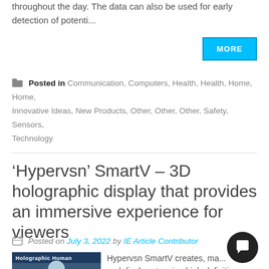throughout the day. The data can also be used for early detection of potenti...
MORE
Posted in Communication, Computers, Health, Health, Home, Home, Innovative Ideas, New Products, Other, Other, Other, Safety, Sensors, Technology
‘Hypervsn’ SmartV – 3D holographic display that provides an immersive experience for viewers
Posted on July 3, 2022 by IE Article Contributor
[Figure (photo): Thumbnail image showing a holographic human figure with text 'Holographic Human']
Hypervsn SmartV creates, ma... and display stunning high-definition